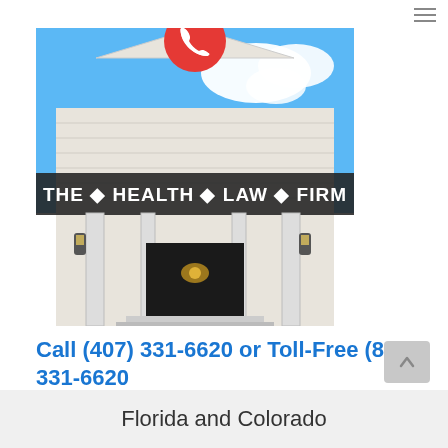[Figure (photo): Exterior photo of The Health Law Firm building — a white colonial-style structure with columns, a triangular pediment with a vent, and a sign reading 'THE · HEALTH · LAW · FIRM'. A red phone icon circle overlaps the top center of the photo. Blue sky with clouds in background.]
Call (407) 331-6620 or Toll-Free (888) 331-6620
Florida and Colorado